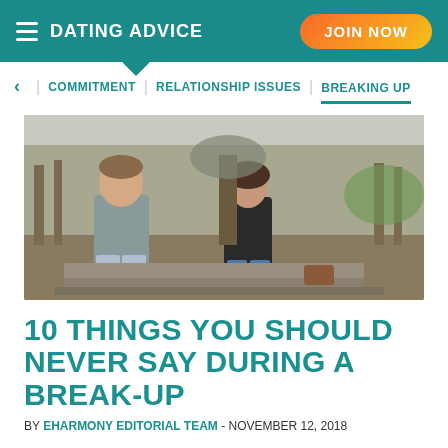DATING ADVICE | JOIN NOW
< | COMMITMENT | RELATIONSHIP ISSUES | BREAKING UP
[Figure (photo): A young man and woman sitting apart on stone steps outdoors in a park, appearing to be having a difficult conversation. Trees with bare branches in the background.]
10 THINGS YOU SHOULD NEVER SAY DURING A BREAK-UP
BY EHARMONY EDITORIAL TEAM - NOVEMBER 12, 2018